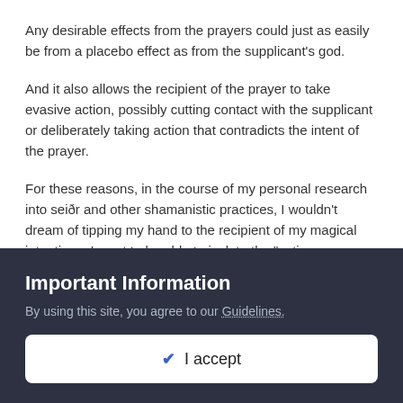Any desirable effects from the prayers could just as easily be from a placebo effect as from the supplicant's god.
And it also allows the recipient of the prayer to take evasive action, possibly cutting contact with the supplicant or deliberately taking action that contradicts the intent of the prayer.
For these reasons, in the course of my personal research into seiðr and other shamanistic practices, I wouldn't dream of tipping my hand to the recipient of my magical intentions. I want to be able to isolate the "active ingredient" if my efforts do bear fruit.
Shawn
Important Information
By using this site, you agree to our Guidelines.
✓ I accept